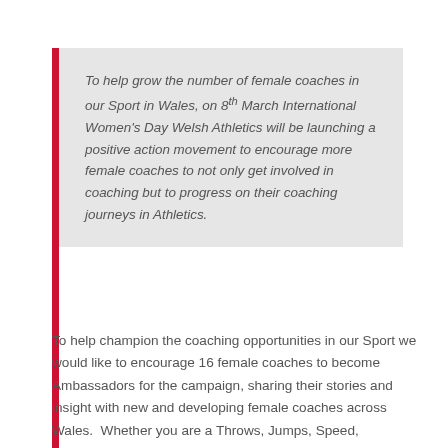To help grow the number of female coaches in our Sport in Wales, on 8th March International Women's Day Welsh Athletics will be launching a positive action movement to encourage more female coaches to not only get involved in coaching but to progress on their coaching journeys in Athletics.
To help champion the coaching opportunities in our Sport we would like to encourage 16 female coaches to become Ambassadors for the campaign, sharing their stories and insight with new and developing female coaches across Wales.  Whether you are a Throws, Jumps, Speed, Combined Events, or Endurance coach, on or off the track, we want to celebrate what you do for the Sport and encourage others to get involved.